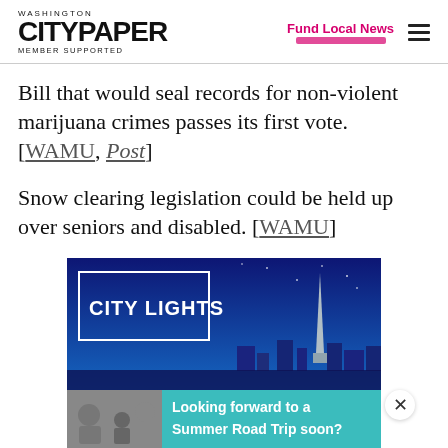WASHINGTON CITYPAPER MEMBER SUPPORTED | Fund Local News
Bill that would seal records for non-violent marijuana crimes passes its first vote. [WAMU, Post]
Snow clearing legislation could be held up over seniors and disabled. [WAMU]
[Figure (illustration): City Lights advertisement with dark blue background and Washington Monument silhouette skyline]
[Figure (photo): Looking forward to a Summer Road Trip soon? advertisement with teal background and family photo]